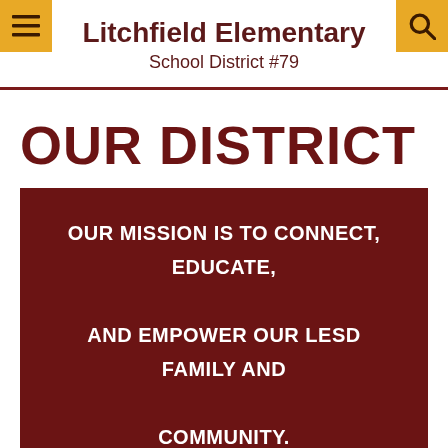≡  🔍
Litchfield Elementary
School District #79
OUR DISTRICT
OUR MISSION IS TO CONNECT, EDUCATE, AND EMPOWER OUR LESD FAMILY AND COMMUNITY.